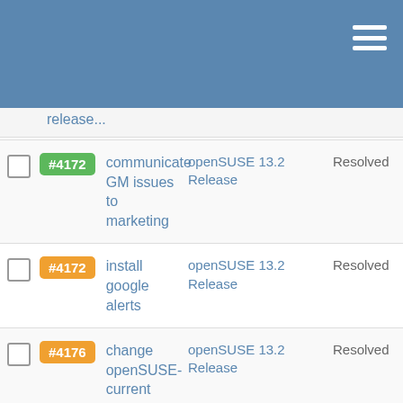Header bar with hamburger menu
#4162 communicate GM issues to marketing | openSUSE 13.2 Release | Resolved
#4172 install google alerts | openSUSE 13.2 Release | Resolved
#4176 change openSUSE-current | openSUSE 13.2 Release | Resolved
#4182 Update the rsync modules to include 13.2 ISO and repo | openSUSE 13.2 Release | Resolved
#4184 release day marketing work | openSUSE 13.2 Release | Resolved